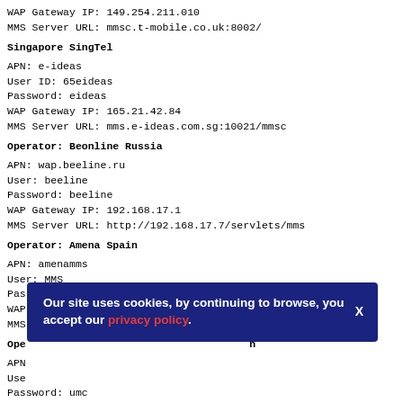WAP Gateway IP: 149.254.211.010
MMS Server URL: mmsc.t-mobile.co.uk:8002/
Singapore SingTel
APN: e-ideas
User ID: 65eideas
Password: eideas
WAP Gateway IP: 165.21.42.84
MMS Server URL: mms.e-ideas.com.sg:10021/mmsc
Operator: Beonline Russia
APN: wap.beeline.ru
User: beeline
Password: beeline
WAP Gateway IP: 192.168.17.1
MMS Server URL: http://192.168.17.7/servlets/mms
Operator: Amena Spain
APN: amenamms
User: MMS
Pass: AMENA
WAP Gw IP: 172.22.188.25
MMS Server URL: http://mms.amena.com/
Operator: Ukrainian Mobile Communication
APN:
User:
Password: umc
WAP Gateway IP: 192.168.10.10
Our site uses cookies, by continuing to browse, you accept our privacy policy.